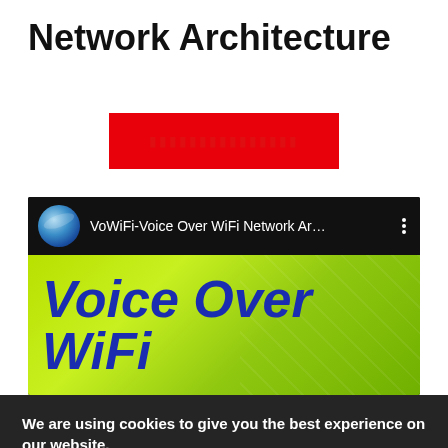Network Architecture
[Figure (screenshot): Red button with repeated square/block characters in dark red on red background]
[Figure (screenshot): YouTube video thumbnail showing 'VoWiFi-Voice Over WiFi Network Ar...' with globe icon and three-dot menu, with green background thumbnail showing 'Voice Over WiFi' in bold italic blue text]
We are using cookies to give you the best experience on our website.
You can find out more about which cookies we are using or switch them off in settings.
Accept